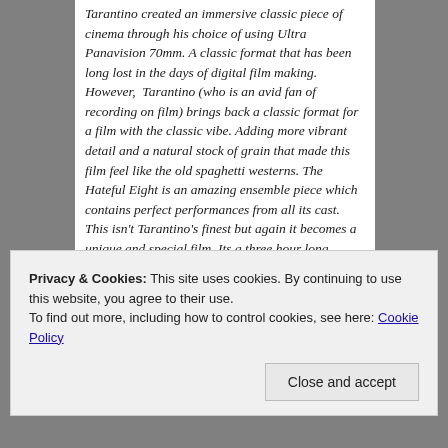Tarantino created an immersive classic piece of cinema through his choice of using Ultra Panavision 70mm. A classic format that has been long lost in the days of digital film making. However, Tarantino (who is an avid fan of recording on film) brings back a classic format for a film with the classic vibe. Adding more vibrant detail and a natural stock of grain that made this film feel like the old spaghetti westerns. The Hateful Eight is an amazing ensemble piece which contains perfect performances from all its cast. This isn't Tarantino's finest but again it becomes a unique and special film. Its a three hour long bloody journey of paranoia, an aspect that Tarantino captures like a Hitchcock film. The Hateful Eight is a hard watch but once you concentrate on the film
Privacy & Cookies: This site uses cookies. By continuing to use this website, you agree to their use.
To find out more, including how to control cookies, see here: Cookie Policy
Close and accept